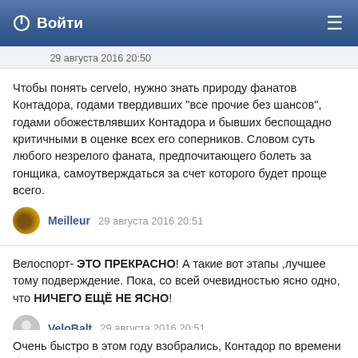Войти
Чтобы понять cervelo, нужно знать природу фанатов Контадора, годами твердивших "все прочие без шансов", годами обожествлявших Контадора и бывших беспощадно критичными в оценке всех его соперников. Словом суть любого незрелого фаната, предпочитающего болеть за гонщика, самоутверждаться за счет которого будет проще всего.
Meilleur   29 августа 2016 20:51
Велоспорт- ЭТО ПРЕКРАСНО! А такие вот этапы ,лучшее тому подверждение. Пока, со всей очевидностью ясно одно, что НИЧЕГО ЕЩЁ НЕ ЯСНО!
VeloBalt   29 августа 2016 20:51
Очень быстро в этом году взобрались, Контадор по времени быстрее себя образца 2014 и почти также как в 2012